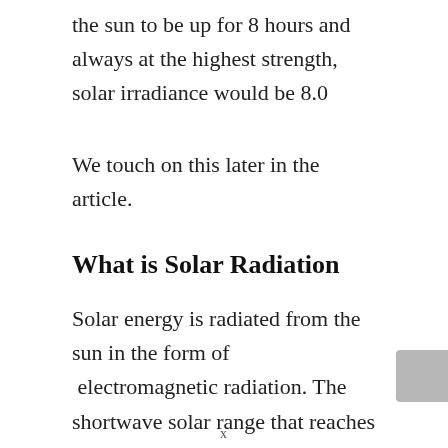the sun to be up for 8 hours and always at the highest strength, solar irradiance would be 8.0
We touch on this later in the article.
What is Solar Radiation
Solar energy is radiated from the sun in the form of  electromagnetic radiation. The shortwave solar range that reaches Earth's atmosphere are classified as ultraviolet, while